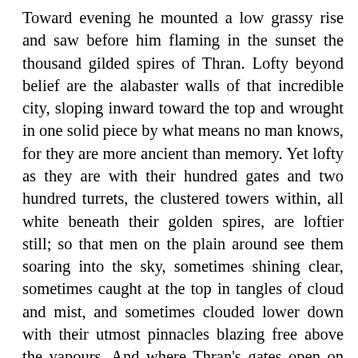Toward evening he mounted a low grassy rise and saw before him flaming in the sunset the thousand gilded spires of Thran. Lofty beyond belief are the alabaster walls of that incredible city, sloping inward toward the top and wrought in one solid piece by what means no man knows, for they are more ancient than memory. Yet lofty as they are with their hundred gates and two hundred turrets, the clustered towers within, all white beneath their golden spires, are loftier still; so that men on the plain around see them soaring into the sky, sometimes shining clear, sometimes caught at the top in tangles of cloud and mist, and sometimes clouded lower down with their utmost pinnacles blazing free above the vapours. And where Thran's gates open on the river are great wharves of marble, with ornate galleons of fragrant cedar and calamander riding gently at anchor, and strange, bearded sailors sitting on